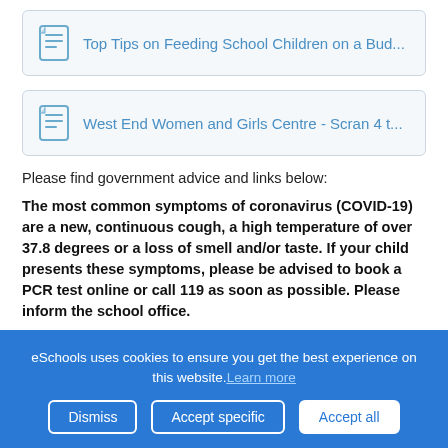[Figure (other): PDF link box with icon: Top Tips on Feeding School Children on a Bud...]
[Figure (other): PDF link box with icon: West End Women and Girls Centre - Scran 4 t...]
Please find government advice and links below:
The most common symptoms of coronavirus (COVID-19) are a new, continuous cough, a high temperature of over 37.8 degrees or a loss of smell and/or taste. If your child presents these symptoms, please be advised to book a PCR test online or call 119 as soon as possible. Please inform the school office.
eSchools uses cookies to ensure you get the best experience on this website. Learn more
Dismiss  Accept specific  Accept all